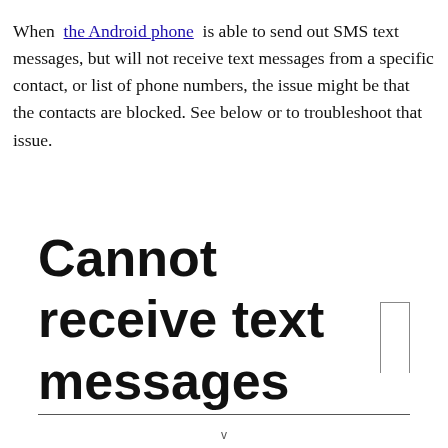When the Android phone is able to send out SMS text messages, but will not receive text messages from a specific contact, or list of phone numbers, the issue might be that the contacts are blocked. See below or to troubleshoot that issue.
Cannot receive text messages
v